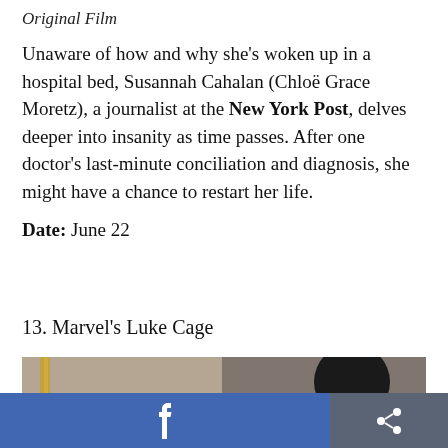Original Film
Unaware of how and why she's woken up in a hospital bed, Susannah Cahalan (Chloë Grace Moretz), a journalist at the New York Post, delves deeper into insanity as time passes. After one doctor's last-minute conciliation and diagnosis, she might have a chance to restart her life.
Date: June 22
13. Marvel's Luke Cage
[Figure (photo): A partially visible photo showing a dark background with a silhouetted figure on the right side.]